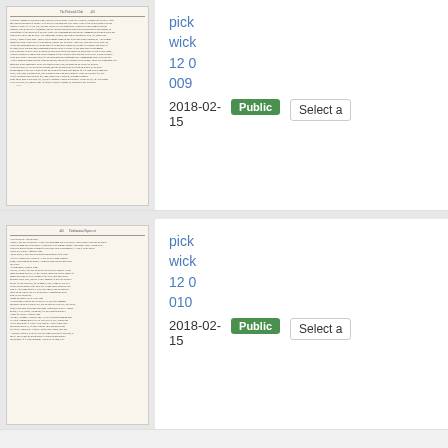[Figure (screenshot): Thumbnail of a scanned book page from Pickwick Papers, showing dense text in small serif font]
pickwick 12 0 009
2018-02-15
Public
Select a
[Figure (screenshot): Thumbnail of a second scanned book page from Pickwick Papers, showing dense text in small serif font]
pickwick 12 0 010
2018-02-15
Public
Select a